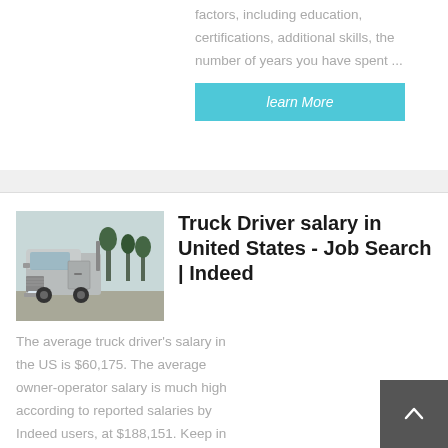factors, including education, certifications, additional skills, the number of years you have spent …
learn More
[Figure (photo): A silver semi-truck cab without a trailer parked in a lot with trees in the background]
Truck Driver salary in United States - Job Search | Indeed
The average truck driver's salary in the US is $60,175. The average owner-operator salary is much higher according to reported salaries by Indeed users, at $188,151. Keep in